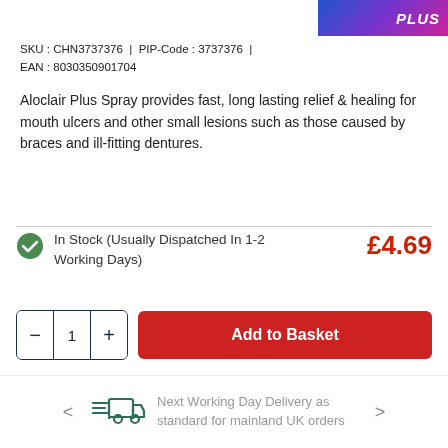[Figure (logo): Chemist Direct PLUS logo, purple/blue/pink gradient background with white bold italic PLUS text]
SKU : CHN3737376  |  PIP-Code : 3737376  |  EAN : 8030350901704
Aloclair Plus Spray provides fast, long lasting relief & healing for mouth ulcers and other small lesions such as those caused by braces and ill-fitting dentures.
In Stock (Usually Dispatched In 1-2 Working Days) £4.69
− 1 + Add to Basket
Next Working Day Delivery as standard for mainland UK orders